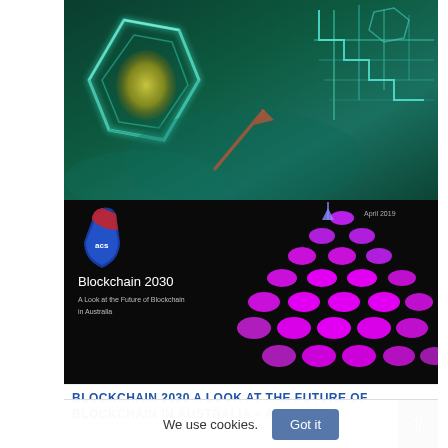[Figure (illustration): Cover image of a report. Top half shows a sci-fi teal/green digital blockchain visual with geometric crystal/hex shapes. Bottom half shows a dark background with magenta/purple oval dot pattern arranged in a triangular cascade. ACS logo (blue shield with 'acs') on the lower left, text 'Blockchain 2030' and subtitle 'A Look at the Future of Blockchain in Australia', date 'April 2019' in upper right.]
BLOCKCHAIN 2030 A LOOK AT THE FUTURE OF BLOCKCHAIN IN AUSTRALIA – APRIL 2019
We use cookies.